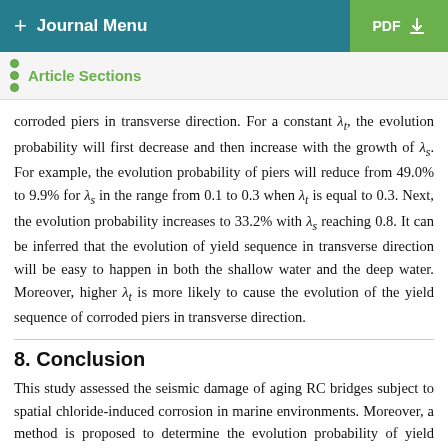+ Journal Menu | PDF ↓
Article Sections
corroded piers in transverse direction. For a constant λ_t, the evolution probability will first decrease and then increase with the growth of λ_s. For example, the evolution probability of piers will reduce from 49.0% to 9.9% for λ_s in the range from 0.1 to 0.3 when λ_t is equal to 0.3. Next, the evolution probability increases to 33.2% with λ_s reaching 0.8. It can be inferred that the evolution of yield sequence in transverse direction will be easy to happen in both the shallow water and the deep water. Moreover, higher λ_t is more likely to cause the evolution of the yield sequence of corroded piers in transverse direction.
8. Conclusion
This study assessed the seismic damage of aging RC bridges subject to spatial chloride-induced corrosion in marine environments. Moreover, a method is proposed to determine the evolution probability of yield sequence of corroded piers, and